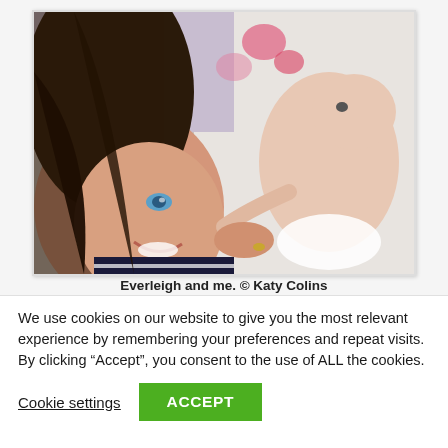[Figure (photo): A woman with long dark hair and blue eyes smiling, lying next to a newborn baby on white bedding. The woman is wearing a striped top and a ring is visible on her hand. The baby is wearing a diaper and holding the woman's hair.]
Everleigh and me. © Katy Colins
We use cookies on our website to give you the most relevant experience by remembering your preferences and repeat visits. By clicking “Accept”, you consent to the use of ALL the cookies.
Cookie settings   ACCEPT